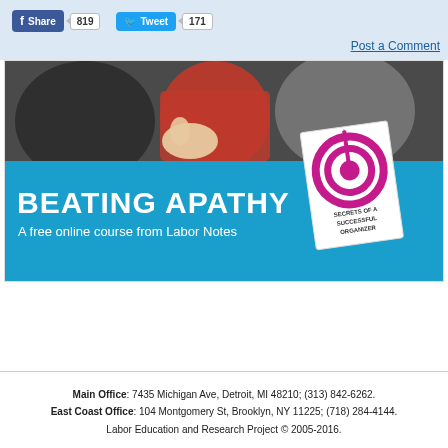[Figure (screenshot): Facebook Share button with count 819 and Twitter Tweet button with count 171 on a light blue background]
Post a Comment
[Figure (photo): Banner image for 'BEATING APATHY - A free online course from Labor Notes' with a blue lower section, white bold text, and a book cover for 'Secrets of a Successful Organizer' on the right. Upper portion shows people interacting.]
Main Office: 7435 Michigan Ave, Detroit, MI 48210; (313) 842-6262.
East Coast Office: 104 Montgomery St, Brooklyn, NY 11225; (718) 284-4144.
Labor Education and Research Project © 2005-2016.